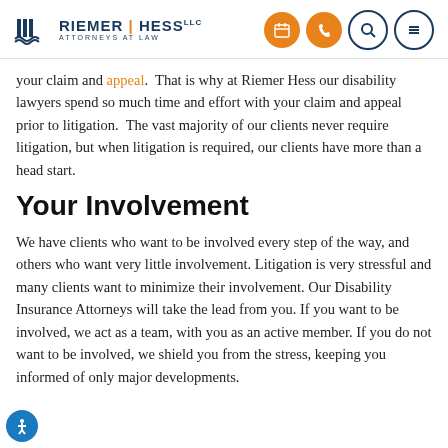Riemer Hess LLC Attorneys at Law — navigation header with logo and icons
your claim and appeal.  That is why at Riemer Hess our disability lawyers spend so much time and effort with your claim and appeal prior to litigation.  The vast majority of our clients never require litigation, but when litigation is required, our clients have more than a head start.
Your Involvement
We have clients who want to be involved every step of the way, and others who want very little involvement. Litigation is very stressful and many clients want to minimize their involvement. Our Disability Insurance Attorneys will take the lead from you. If you want to be involved, we act as a team, with you as an active member. If you do not want to be involved, we shield you from the stress, keeping you informed of only major developments.